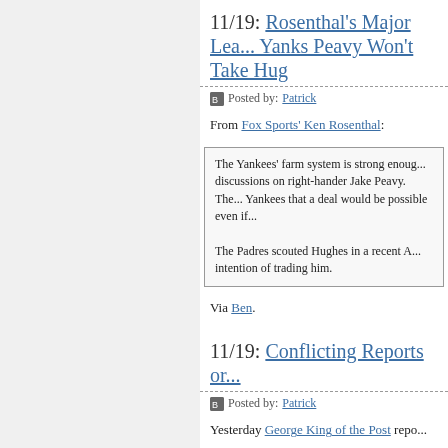11/19: Rosenthal's Major Lea... Yanks Peavy Won't Take Hug...
Posted by: Patrick
From Fox Sports' Ken Rosenthal:
The Yankees' farm system is strong enough... discussions on right-hander Jake Peavy. The... Yankees that a deal would be possible even if...

The Padres scouted Hughes in a recent A... intention of trading him.
Via Ben.
11/19: Conflicting Reports or...
Posted by: Patrick
Yesterday George King of the Post repo...
The Yankees, according to several industry i... five-year deal worth about $80 million - for... offered Milwaukee lefty CC Sabathia a six-yea...
The emphasis is mine. But, Kat O'Brien...